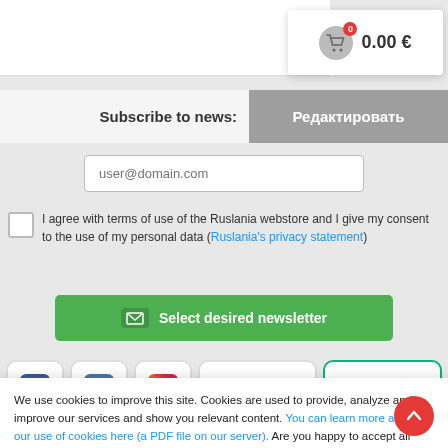[Figure (screenshot): Shopping cart widget showing 0 items and 0.00 € total]
Subscribe to news:
Редактировать
[Figure (screenshot): Email input field with placeholder user@domain.com]
I agree with terms of use of the Ruslania webstore and I give my consent to the use of my personal data (Ruslania's privacy statement)
Select desired newsletter
[Figure (screenshot): Social media icons: Facebook, VK, Instagram, Google 4.7 stars, Trustpilot 4.8 stars]
We use cookies to improve this site. Cookies are used to provide, analyze and improve our services and show you relevant content. You can learn more about our use of cookies here (a PDF file on our server). Are you happy to accept all cookies? Click Accept.
Accept